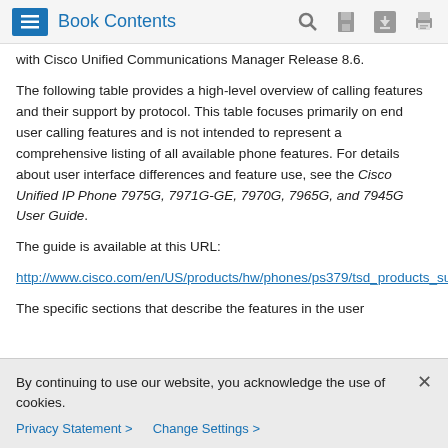Book Contents
with Cisco Unified Communications Manager Release 8.6.
The following table provides a high-level overview of calling features and their support by protocol. This table focuses primarily on end user calling features and is not intended to represent a comprehensive listing of all available phone features. For details about user interface differences and feature use, see the Cisco Unified IP Phone 7975G, 7971G-GE, 7970G, 7965G, and 7945G User Guide.
The guide is available at this URL:
http://www.cisco.com/en/US/products/hw/phones/ps379/tsd_products_support_series_home.html
The specific sections that describe the features in the user
By continuing to use our website, you acknowledge the use of cookies.
Privacy Statement > Change Settings >